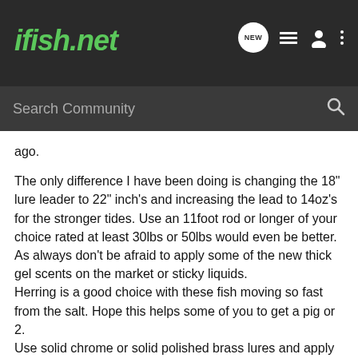ifish.net
Search Community
ago.
The only difference I have been doing is changing the 18" lure leader to 22" inch's and increasing the lead to 14oz's for the stronger tides. Use an 11foot rod or longer of your choice rated at least 30lbs or 50lbs would even be better. As always don't be afraid to apply some of the new thick gel scents on the market or sticky liquids.
Herring is a good choice with these fish moving so fast from the salt. Hope this helps some of you to get a pig or 2.
Use solid chrome or solid polished brass lures and apply some Chartruese or Combinations of Chartruese and dark green prism tape. Change the hooks to 2/0 owners for a real slow action to the lures and you should be into a fish or 3!
Good luck.